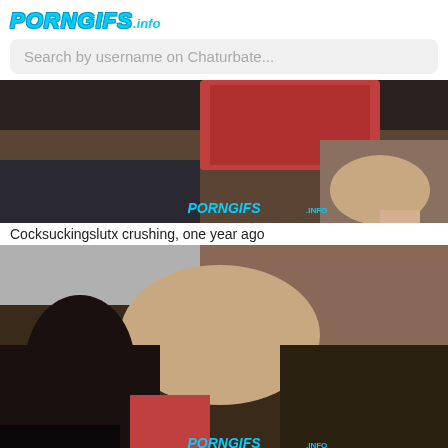PORNGIFS.INFO
Search by username on Chaturbate...
[Figure (photo): Adult content thumbnail image with PORNGIFS.INFO watermark]
Cocksuckingslutx crushing, one year ago
[Figure (photo): Adult content thumbnail image with PORNGIFS.INFO watermark]
Cocksuckingslutx biting, one year ago